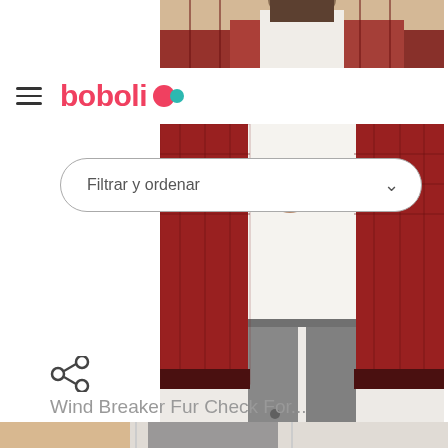[Figure (photo): Top portion of a boy model wearing a red plaid fur check windbreaker jacket, cropped showing upper body and face looking down]
boboli
[Figure (photo): Main product image of a boy model wearing a red plaid fur check windbreaker jacket open over a white graphic t-shirt with grey distressed jeans]
Filtrar y ordenar
[Figure (other): Share icon (three connected circles forming a share symbol)]
Wind Breaker Fur Check For...
[Figure (photo): Bottom strip showing partial thumbnail images of products]